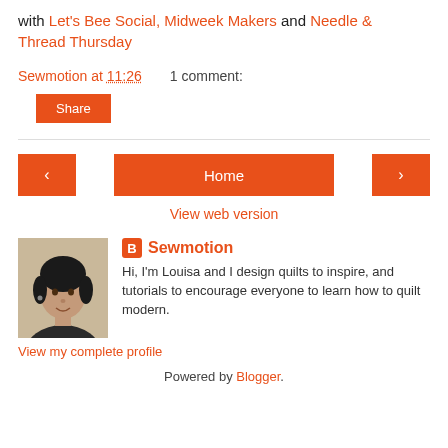with Let's Bee Social, Midweek Makers and Needle & Thread Thursday
Sewmotion at 11:26    1 comment:
Share
< Home >
View web version
[Figure (photo): Profile photo of Louisa, a woman with dark hair]
Sewmotion — Hi, I'm Louisa and I design quilts to inspire, and tutorials to encourage everyone to learn how to quilt modern.
View my complete profile
Powered by Blogger.